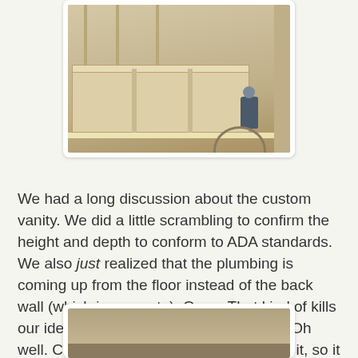[Figure (photo): Interior photo of a room showing a custom built-in wooden shelving/locker unit with a child sitting on it in the back right corner. The unit has multiple cubby sections and a bench. The room appears to be under construction with bare walls and floor.]
We had a long discussion about the custom vanity. We did a little scrambling to confirm the height and depth to conform to ADA standards. We also just realized that the plumbing is coming up from the floor instead of the back wall (which is concrete). Oops. That kind of kills our idea for having the pipes concealed. Oh well. Chris is going to put a cover around it, so it will be a little better, but in the grand scheme of things, not a big deal.
[Figure (photo): Interior photo showing what appears to be a bathroom or utility room with bare walls and floor, partially visible at the bottom of the page.]